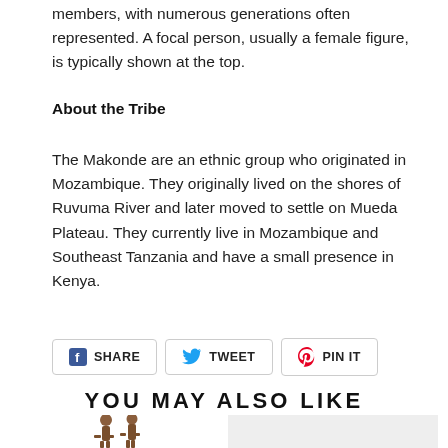members, with numerous generations often represented. A focal person, usually a female figure, is typically shown at the top.
About the Tribe
The Makonde are an ethnic group who originated in Mozambique. They originally lived on the shores of Ruvuma River and later moved to settle on Mueda Plateau. They currently live in Mozambique and Southeast Tanzania and have a small presence in Kenya.
SHARE   TWEET   PIN IT
YOU MAY ALSO LIKE
[Figure (photo): Wooden figurine sculpture of two figures]
[Figure (photo): Product image placeholder (light gray background)]